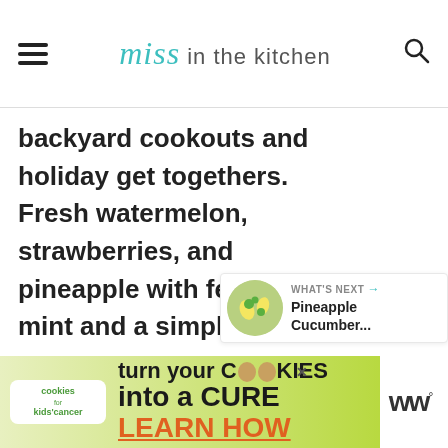Miss in the kitchen
backyard cookouts and holiday get togethers. Fresh watermelon, strawberries, and pineapple with feta cheese, mint and a simple lime dressing.
[Figure (other): Heart/like button showing 7K likes and a share button]
[Figure (other): What's Next panel: Pineapple Cucumber... with thumbnail]
[Figure (other): Advertisement banner: cookies for kids cancer - turn your cookies into a CURE LEARN HOW]